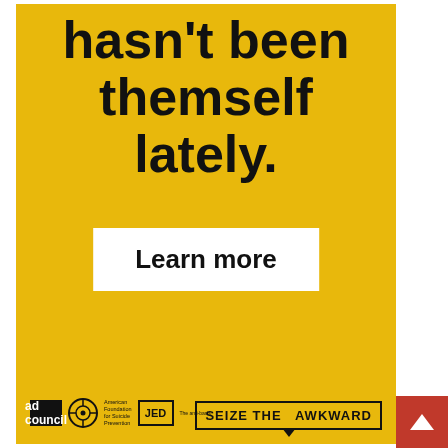hasn't been themself lately.
Learn more
[Figure (logo): Ad Council logo, American Foundation for Suicide Prevention logo, JED Foundation logo, 'The anti-basis' text]
[Figure (logo): Seize The Awkward speech bubble logo]